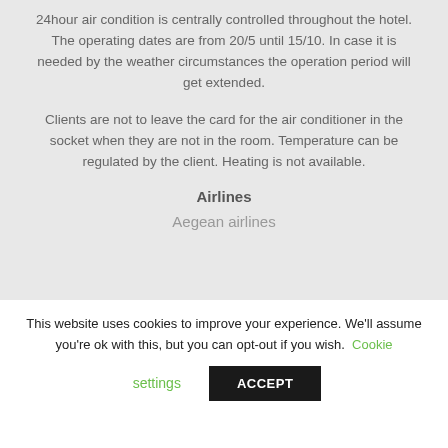24hour air condition is centrally controlled throughout the hotel. The operating dates are from 20/5 until 15/10. In case it is needed by the weather circumstances the operation period will get extended.
Clients are not to leave the card for the air conditioner in the socket when they are not in the room. Temperature can be regulated by the client. Heating is not available.
Airlines
Aegean airlines
This website uses cookies to improve your experience. We'll assume you're ok with this, but you can opt-out if you wish. Cookie settings ACCEPT